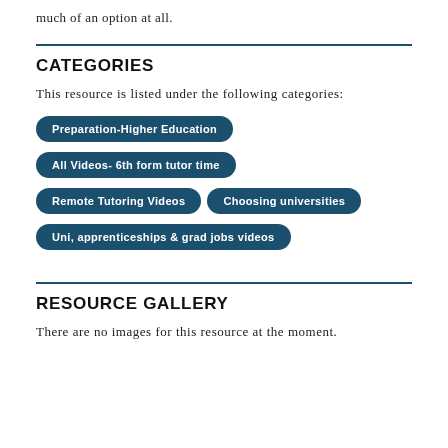much of an option at all.
CATEGORIES
This resource is listed under the following categories:
Preparation-Higher Education
All Videos- 6th form tutor time
Remote Tutoring Videos
Choosing universities
Uni, apprenticeships & grad jobs videos
RESOURCE GALLERY
There are no images for this resource at the moment.